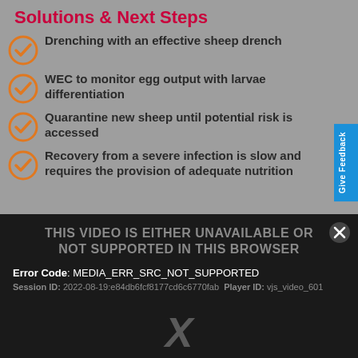Solutions & Next Steps
Drenching with an effective sheep drench
WEC to monitor egg output with larvae differentiation
Quarantine new sheep until potential risk is accessed
Recovery from a severe infection is slow and requires the provision of adequate nutrition
THIS VIDEO IS EITHER UNAVAILABLE OR NOT SUPPORTED IN THIS BROWSER
Error Code: MEDIA_ERR_SRC_NOT_SUPPORTED
Session ID: 2022-08-19:e84db6fcf8177cd6c6770fab Player ID: vjs_video_601